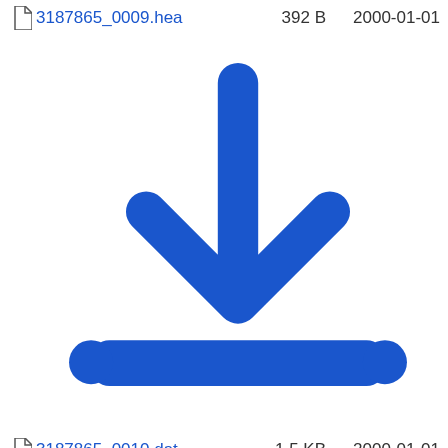3187865_0009.hea  392 B  2000-01-01
3187865_0010.dat  1.5 KB  2000-01-01
3187865_0010.hea  393 B  2000-01-01
3187865_0011.dat  4.9 MB  2000-01-01
3187865_0011.hea  399 B  2000-01-01
3187865_0012.dat  750 B  2000-01-01
3187865_0012.hea  215 B  2000-01-01
3187865_0013.dat  750 B  2000-01-01